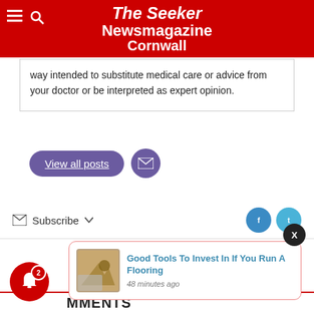The Seeker Newsmagazine Cornwall
way intended to substitute medical care or advice from your doctor or be interpreted as expert opinion.
View all posts
Subscribe
Good Tools To Invest In If You Run A Flooring
48 minutes ago
MMENTS